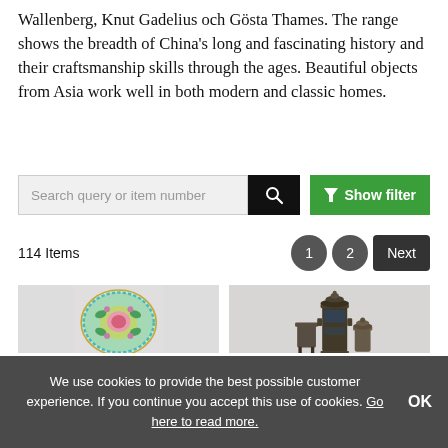Wallenberg, Knut Gadelius och Gösta Thames. The range shows the breadth of China's long and fascinating history and their craftsmanship skills through the ages. Beautiful objects from Asia work well in both modern and classic homes.
[Figure (screenshot): Search bar with input field 'Search query or item number', a black search button with magnifier icon, and a green 'Show filter' button with funnel icon]
114 Items
[Figure (screenshot): Pagination controls: page 1 (active), page 2, Next button]
[Figure (photo): Two product images side by side: left shows a decorative Chinese porcelain plate with floral pattern in green, pink and teal; right shows antique Chinese bronze vessels/censers]
We use cookies to provide the best possible customer experience. If you continue you accept this use of cookies. Go here to read more.